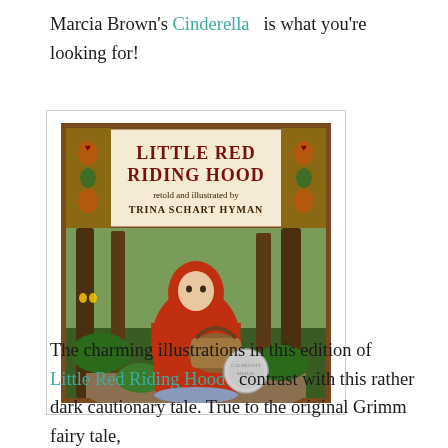Marcia Brown's Cinderella is what you're looking for!
[Figure (photo): Book cover of 'Little Red Riding Hood' retold and illustrated by Trina Schart Hyman, showing a girl in a red cloak carrying a basket in a forest, with a Caldecott Medal on the cover.]
The charming illustrations in this edition of Little Red Riding Hood contrast with this rather dark cautionary tale. True to the original Grimm fairy tale,